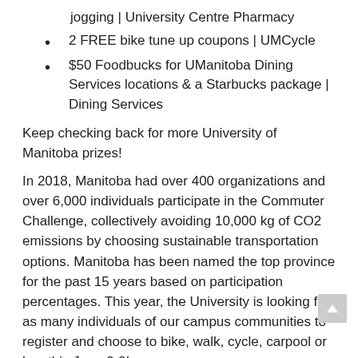jogging | University Centre Pharmacy
2 FREE bike tune up coupons | UMCycle
$50 Foodbucks for UManitoba Dining Services locations & a Starbucks package | Dining Services
Keep checking back for more University of Manitoba prizes!
In 2018, Manitoba had over 400 organizations and over 6,000 individuals participate in the Commuter Challenge, collectively avoiding 10,000 kg of CO2 emissions by choosing sustainable transportation options. Manitoba has been named the top province for the past 15 years based on participation percentages. This year, the University is looking for as many individuals of our campus communities to register and choose to bike, walk, cycle, carpool or bus this June 2-8!
Find your ideal commute
Explore your transportation options to U of M campuses.